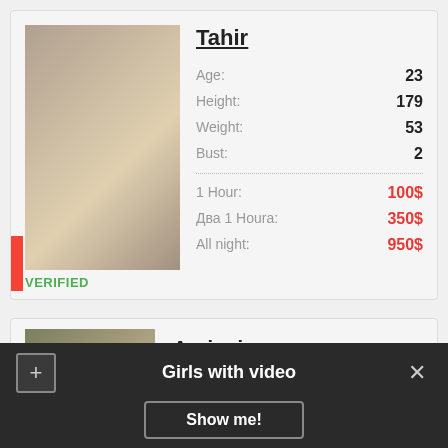[Figure (photo): Profile photo of person named Tahir]
Tahir
Age: 23
Height: 179
Weight: 53
Bust: 2
1 Hour: 100$
Два 1 Ноura: 350$
All night: 950$
VERIFIED
[Figure (photo): Profile photo of person named Agrippina]
Agrippina
Age: 18
Girls with video
Show me!